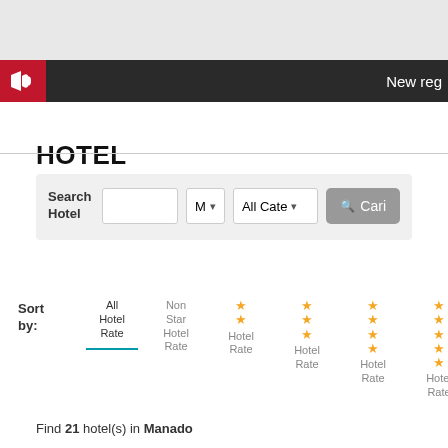[Figure (screenshot): Top gray bar area of a web application]
New reg
HOTEL
Search Hotel [text input] M ▾ All Cate ▾ [Cari button]
Sort by: All Hotel Rate | Non Star Hotel Rate | ★★ Hotel Rate | ★★★ Hotel Rate | ★★★★ Hotel Rate | ★★★★★ Hotel Rate
Find 21 hotel(s) in Manado